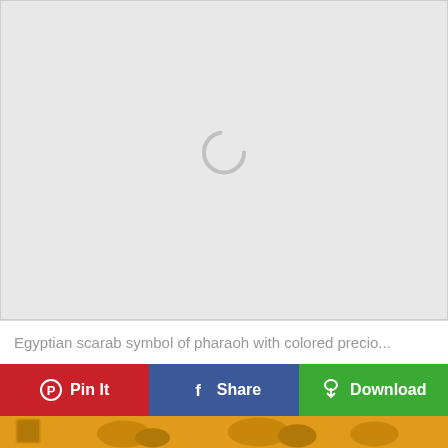[Figure (illustration): Large light gray placeholder image area with a circular loading spinner ring in the upper center portion]
Egyptian scarab symbol of pharaoh with colored precio...
[Figure (screenshot): Three action buttons in a row: red Pin It button with Pinterest icon, blue Share button with Facebook f icon, and green Download button with cloud download icon]
[Figure (illustration): Bottom strip showing orange/golden colored decorative icons partially visible at the bottom of the page]